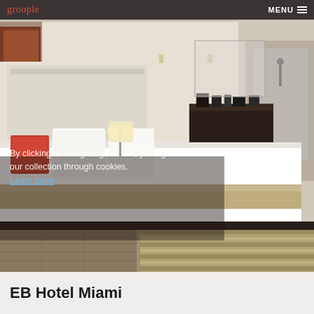groople   MENU
[Figure (photo): Hotel room interior showing a king bed with white linens and orange accent pillow, bench at foot of bed, dark wood dresser with coffee maker, open bathroom with shower, striped area rug on hardwood floor.]
By clicking or navigating the site, you agree to allow our collection through cookies. Learn more
EB Hotel Miami